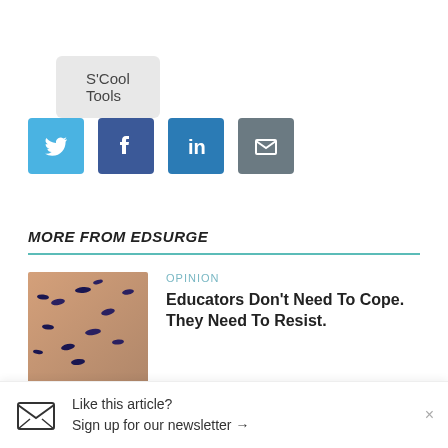S'Cool Tools
[Figure (infographic): Social sharing icons row: Twitter (blue), Facebook (dark blue), LinkedIn (blue), Email (grey)]
MORE FROM EDSURGE
[Figure (photo): Photo of birds flying in a flock against a blurred background]
OPINION
Educators Don't Need To Cope. They Need To Resist.
[Figure (photo): Photo of Otterbein University entrance sign with building and trees]
MERGERS AND ACQUISITIONS
Two Universities Team Up to Stay Alive, But Stop Short of Merging
Like this article?
Sign up for our newsletter →